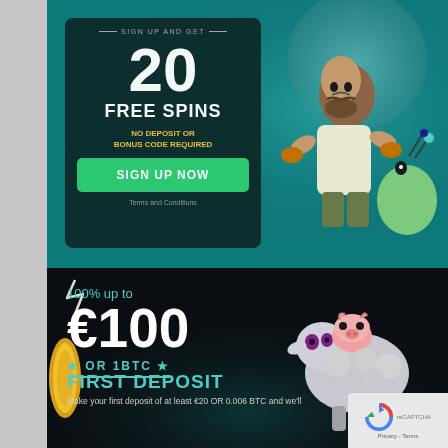[Figure (infographic): Top casino bonus banner: dark teal background with a promo card showing '20 FREE SPINS - SIGN UP AND GET - NO DEPOSIT OR BONUS CODE REQUIRED - SIGN UP NOW button - Terms and Conditions'. Cartoon character of a bearded man boxing an alien on the right.]
[Figure (infographic): Bottom casino deposit bonus banner: dark background with '100% up to €100 OR 1BTC' text in white and teal. Cartoon sheep/animal characters on right. Gold coin on left edge. Arrow decoration top left. FIRST DEPOSIT heading in teal. Text: 'Make your first deposit of at least €20 OR 0.006 BTC and we'll'. reCAPTCHA Privacy - Terms box in bottom right corner.]